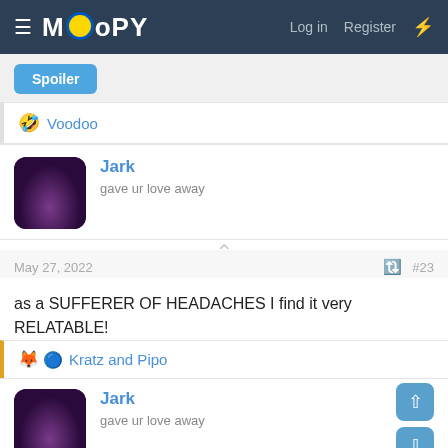MOOPY — Log in  Register
Spoiler
🤣 Voodoo
Jark
gave ur love away
May 27, 2022   #23
as a SUFFERER OF HEADACHES I find it very RELATABLE!
she's just like us!
Kratz and Pipo
Jark
gave ur love away